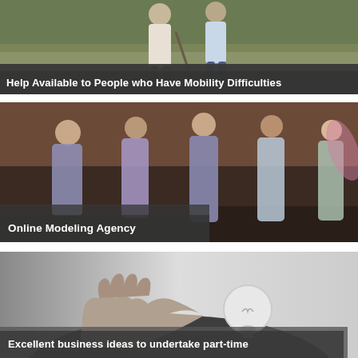[Figure (photo): People walking outdoors, one person using a walking stick, with a text overlay banner reading 'Help Available to People who Have Mobility Difficulties']
Help Available to People who Have Mobility Difficulties
[Figure (photo): Group of women in elegant gowns and dresses at a fashion event, with a text overlay reading 'Online Modeling Agency']
Online Modeling Agency
[Figure (photo): Black and white photo of a hand holding a light bulb, with a text overlay reading 'Excellent business ideas to undertake part-time']
Excellent business ideas to undertake part-time